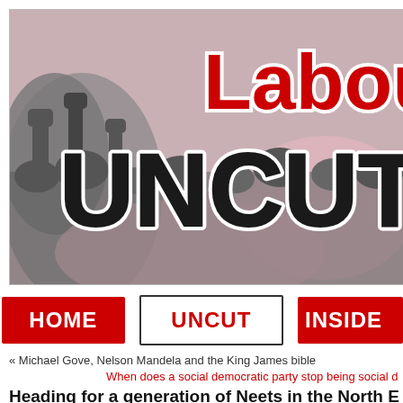[Figure (logo): Labour Uncut website banner/logo with pink and grey illustrated background showing crowd silhouettes, with 'Labour' in large red text and 'UNCUT' in large black outlined text]
[Figure (infographic): Navigation bar with three buttons: HOME (red background, white text), UNCUT (white background with border, red text), INSIDE (red background, white text, partially cut off)]
« Michael Gove, Nelson Mandela and the King James bible
When does a social democratic party stop being social d...
Heading for a generation of Neets in the North...